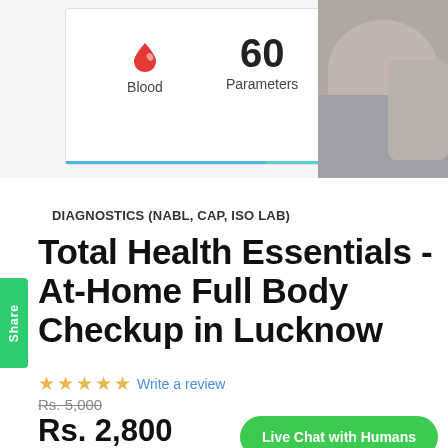[Figure (screenshot): Health checkup product card showing blood drop icon and '60 Parameters' label, with a photo of a person on the right side]
DIAGNOSTICS (NABL, CAP, ISO LAB)
Total Health Essentials - At-Home Full Body Checkup in Lucknow
☆☆☆☆☆ Write a review
Rs. 5,000
Rs. 2,800
Live Chat with Humans